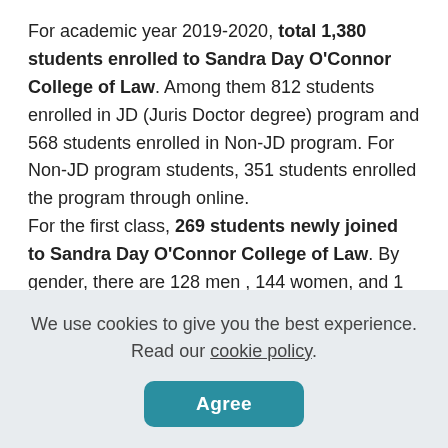For academic year 2019-2020, total 1,380 students enrolled to Sandra Day O'Connor College of Law. Among them 812 students enrolled in JD (Juris Doctor degree) program and 568 students enrolled in Non-JD program. For Non-JD program students, 351 students enrolled the program through online. For the first class, 269 students newly joined to Sandra Day O'Connor College of Law. By gender, there are 128 men , 144 women, and 1 other/unknown gender first-time students at Sandra Day O'Connor College of Law. All students enrolled as full-time status at Sandra Day
We use cookies to give you the best experience. Read our cookie policy.